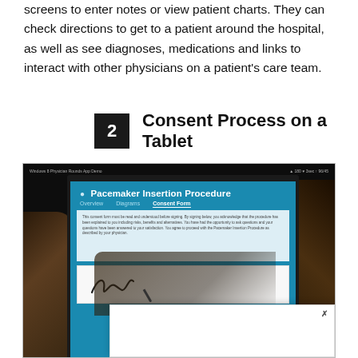screens to enter notes or view patient charts. They can check directions to get to a patient around the hospital, as well as see diagnoses, medications and links to interact with other physicians on a patient's care team.
2  Consent Process on a Tablet
[Figure (photo): A person signing a consent form on a tablet device showing the 'Pacemaker Insertion Procedure' app with tabs for Overview, Diagrams, and Consent Form. The tablet screen shows a signature being made with a stylus. A small popup box with an X close button appears in the lower right area.]